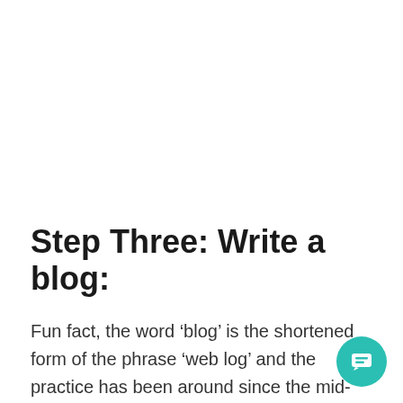Step Three: Write a blog:
Fun fact, the word ‘blog’ is the shortened form of the phrase ‘web log’ and the practice has been around since the mid-nineties. It may have started with people simply journaling online about their daily lives, but now creating blogs is a way to drive people to your website and offer value to your customers,eferencing with yourself.